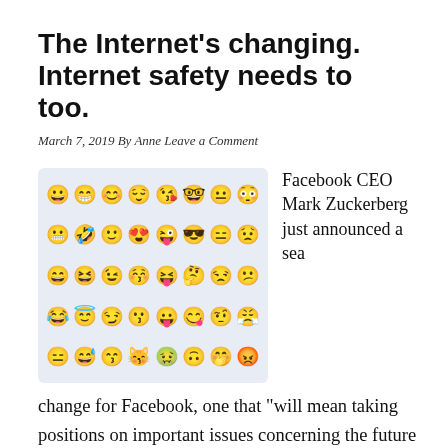The Internet's changing. Internet safety needs to too.
March 7, 2019 By Anne Leave a Comment
[Figure (illustration): Grid of 40 emoji faces on a light blue-grey background arranged in 5 rows of 8 columns, showing various yellow smiley faces with different expressions.]
Facebook CEO Mark Zuckerberg just announced a sea change for Facebook, one that "will mean taking positions on important issues concerning the future